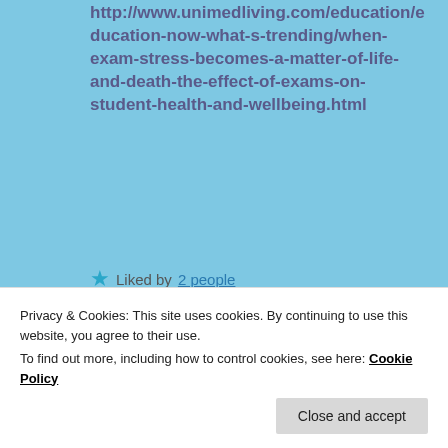http://www.unimedliving.com/education/education-now-what-s-trending/when-exam-stress-becomes-a-matter-of-life-and-death-the-effect-of-exams-on-student-health-and-wellbeing.html
Liked by 2 people
[Figure (logo): YCBC circular logo with globe motif and black ring border]
Privacy & Cookies: This site uses cookies. By continuing to use this website, you agree to their use.
To find out more, including how to control cookies, see here: Cookie Policy
Close and accept
every day that I go to school and I think you